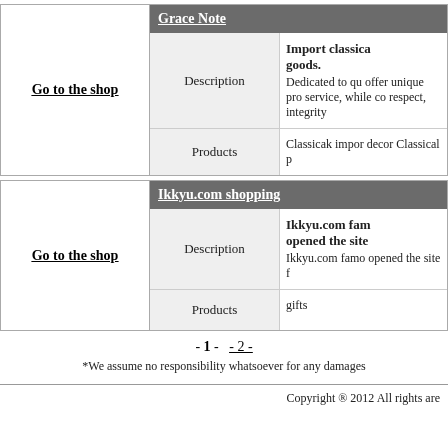| Go to the shop | Grace Note |  |
| --- | --- | --- |
| Description |  | Import classica goods. Dedicated to qu offer unique pro service, while co respect, integrity |
| Products |  | Classicak impo decor Classical p |
| Go to the shop | Ikkyu.com shopping |  |
| --- | --- | --- |
| Description |  | Ikkyu.com fam opened the site Ikkyu.com famo opened the site f |
| Products |  | gifts |
- 1 -   - 2 -
*We assume no responsibility whatsoever for any damages
Copyright ® 2012 All rights are